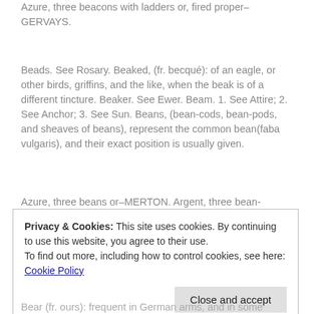Azure, three beacons with ladders or, fired proper–GERVAYS.
Beads. See Rosary. Beaked, (fr. becqué): of an eagle, or other birds, griffins, and the like, when the beak is of a different tincture. Beaker. See Ewer. Beam. 1. See Attire; 2. See Anchor; 3. See Sun. Beans, (bean-cods, bean-pods, and sheaves of beans), represent the common bean(faba vulgaris), and their exact position is usually given.
Azure, three beans or–MERTON. Argent, three bean-
Privacy & Cookies: This site uses cookies. By continuing to use this website, you agree to their use.
To find out more, including how to control cookies, see here: Cookie Policy
Bear (fr. ours): frequent in German arms, and in some